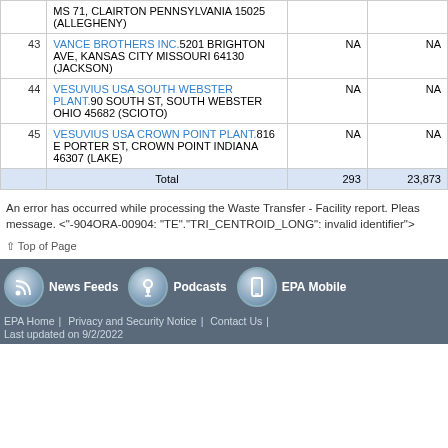| # | Facility Name / Address | Col3 | Col4 |
| --- | --- | --- | --- |
|  | MS 71, CLAIRTON PENNSYLVANIA 15025 (ALLEGHENY) |  |  |
| 43 | VANCE BROTHERS INC.5201 BRIGHTON AVE, KANSAS CITY MISSOURI 64130 (JACKSON) | NA | NA |
| 44 | VESUVIUS USA SOUTH WEBSTER PLANT.90 SOUTH ST, SOUTH WEBSTER OHIO 45682 (SCIOTO) | NA | NA |
| 45 | VESUVIUS USA CROWN POINT PLANT.816 E PORTER ST, CROWN POINT INDIANA 46307 (LAKE) | NA | NA |
| Total |  | 293 | 23,873 |
An error has occurred while processing the Waste Transfer - Facility report. Please see message. <"-904ORA-00904: "TE"."TRI_CENTROID_LONG": invalid identifier">
Top of Page
News Feeds | Podcasts | EPA Mobile | EPA Home | Privacy and Security Notice | Contact Us | Last updated on 9/2/2022